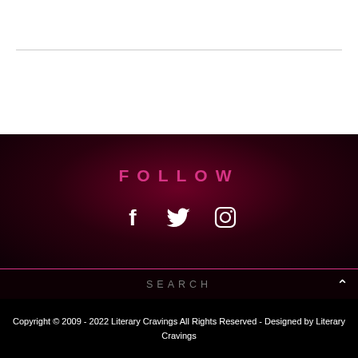FOLLOW
[Figure (illustration): Social media icons: Facebook (f), Twitter (bird), Instagram (camera) in white on dark background]
SEARCH
Copyright © 2009 - 2022 Literary Cravings All Rights Reserved - Designed by Literary Cravings